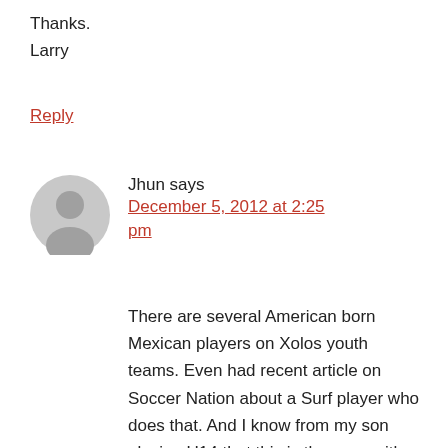Thanks.
Larry
Reply
Jhun says
December 5, 2012 at 2:25 pm
There are several American born Mexican players on Xolos youth teams. Even had recent article on Soccer Nation about a Surf player who does that. And I know from my son playing U14 that this is the case with others his age.